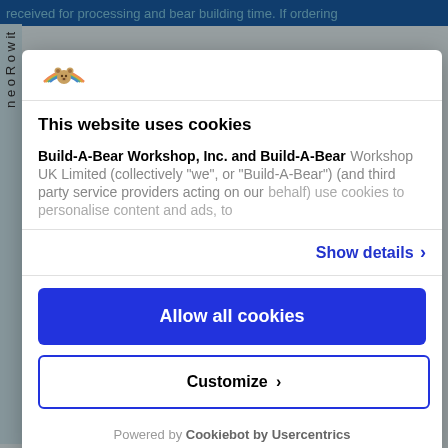received for processing and bear building time. If ordering
[Figure (logo): Build-A-Bear Workshop logo — colorful bear icon]
This website uses cookies
Build-A-Bear Workshop, Inc. and Build-A-Bear Workshop UK Limited (collectively “we”, or “Build-A-Bear”) (and third party service providers acting on our behalf) use cookies to personalise content and ads, to
Show details ›
Allow all cookies
Customize ›
Powered by Cookiebot by Usercentrics